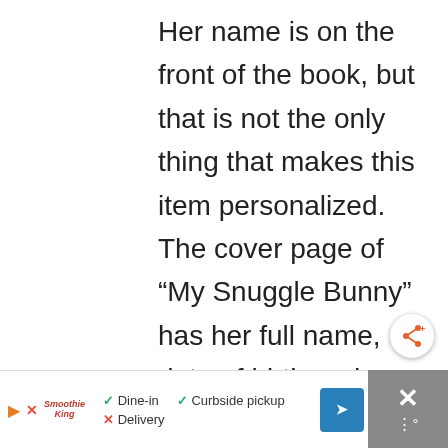Her name is on the front of the book, but that is not the only thing that makes this item personalized. The cover page of “My Snuggle Bunny” has her full name, date of birth and a message that we chose. It also has her name on several pages, so when I read her the story, she really felt like the book was
[Figure (other): Share/social button (circular white button with orange share icon and plus symbol)]
[Figure (other): Advertisement bar at bottom: Smoothie King ad with Dine-in (checkmark), Curbside pickup (checkmark), Delivery (X), play button, map/navigation icon, and close (X) button on dark grey background]